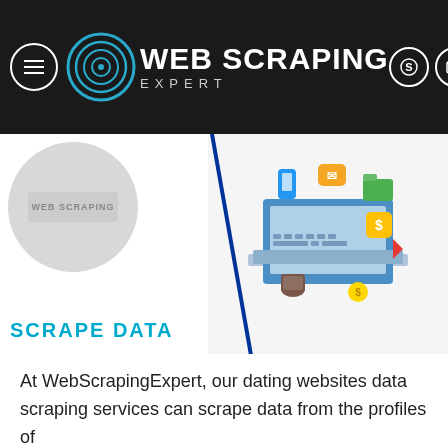WEB SCRAPING EXPERT
[Figure (screenshot): Website banner showing a laptop with colorful icons (email, dollar, etc.) and a scrape data illustration on a white/grey background. Left side shows a partial circle logo and 'SCRAPE DATA' text in cyan. Right side shows an isometric illustration of a laptop with floating app/currency icons.]
At WebScrapingExpert, our dating websites data scraping services can scrape data from the profiles of